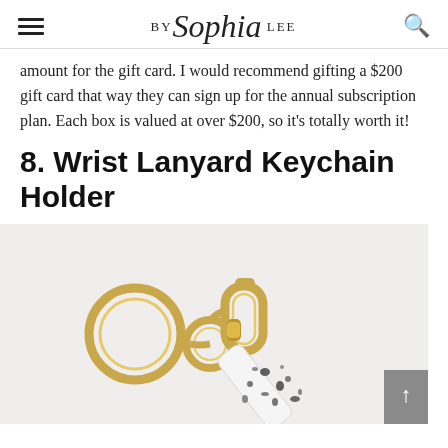BY Sophia LEE
amount for the gift card. I would recommend gifting a $200 gift card that way they can sign up for the annual subscription plan. Each box is valued at over $200, so it’s totally worth it!
8. Wrist Lanyard Keychain Holder
[Figure (photo): Photo of a wrist lanyard keychain holder with gold hardware (swivel clasp and key rings) attached to a white and black dalmatian-spotted strap, on a light grey background.]